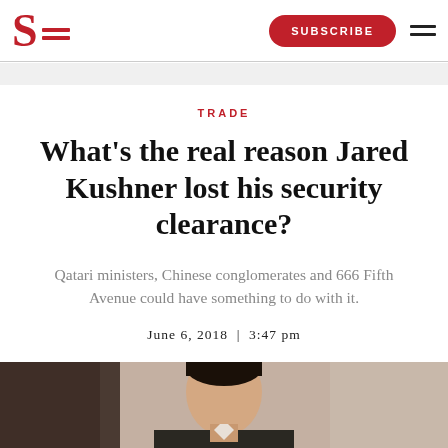Slate | SUBSCRIBE
TRADE
What's the real reason Jared Kushner lost his security clearance?
Qatari ministers, Chinese conglomerates and 666 Fifth Avenue could have something to do with it.
June 6, 2018 | 3:47 pm
[Figure (photo): Photo of Jared Kushner, partially visible from chest up, dark hair, wearing a suit, light background]